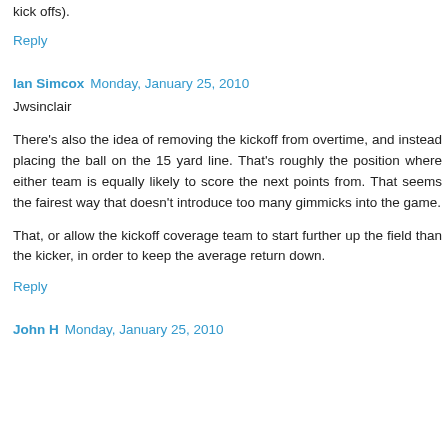kick offs).
Reply
Ian Simcox  Monday, January 25, 2010
Jwsinclair
There's also the idea of removing the kickoff from overtime, and instead placing the ball on the 15 yard line. That's roughly the position where either team is equally likely to score the next points from. That seems the fairest way that doesn't introduce too many gimmicks into the game.
That, or allow the kickoff coverage team to start further up the field than the kicker, in order to keep the average return down.
Reply
John H  Monday, January 25, 2010